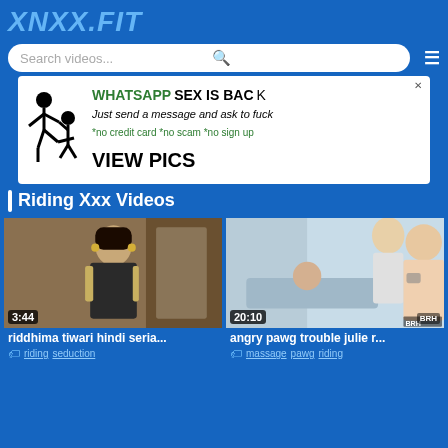XNXX.FIT
[Figure (screenshot): Search bar with placeholder text 'Search videos...' and a hamburger menu icon]
[Figure (photo): Advertisement banner: WHATSAPP SEX IS BACK - Just send a message and ask to fuck - no credit card no scam no sign up - VIEW PICS]
Riding Xxx Videos
[Figure (photo): Video thumbnail: woman in Indian attire, duration 3:44]
riddhima tiwari hindi seria...
riding seduction
[Figure (photo): Video thumbnail: medical/adult scene, duration 20:10, BRH logo]
angry pawg trouble julie r...
massage pawg riding